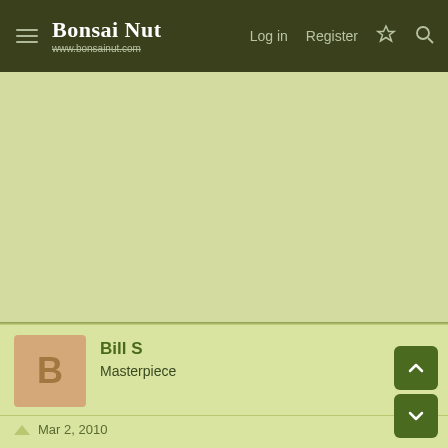Bonsai Nut - www.bonsainut.com | Log in | Register
[Figure (other): Advertisement area, light olive/yellow-green background]
Bill S
Masterpiece
Mar 2, 2010
I think it looks better with the change, but to the extent that if the apex were a bit fuller and the whole a bit more ramified, I'd like